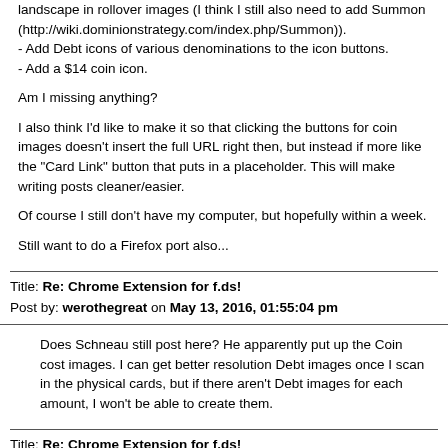landscape in rollover images (I think I still also need to add Summon (http://wiki.dominionstrategy.com/index.php/Summon)).
- Add Debt icons of various denominations to the icon buttons.
- Add a $14 coin icon.
Am I missing anything?
I also think I'd like to make it so that clicking the buttons for coin images doesn't insert the full URL right then, but instead if more like the "Card Link" button that puts in a placeholder. This will make writing posts cleaner/easier.
Of course I still don't have my computer, but hopefully within a week.
Still want to do a Firefox port also...
Title: Re: Chrome Extension for f.ds!
Post by: werothegreat on May 13, 2016, 01:55:04 pm
Does Schneau still post here?  He apparently put up the Coin cost images.  I can get better resolution Debt images once I scan in the physical cards, but if there aren't Debt images for each amount, I won't be able to create them.
Title: Re: Chrome Extension for f.ds!
Post by: Gendolkari on May 13, 2016, 02:18:17 pm